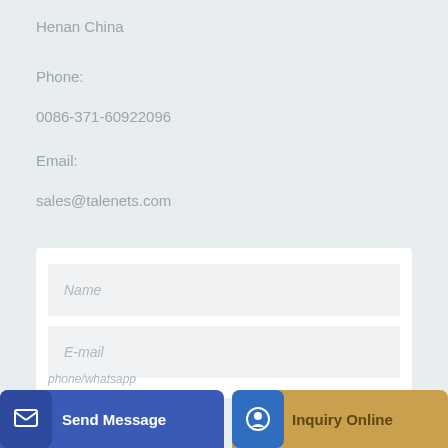Henan China
Phone:
0086-371-60922096
Email:
sales@talenets.com
Name
E-mail
phone/whatsapp
Send Message
Inquiry Online